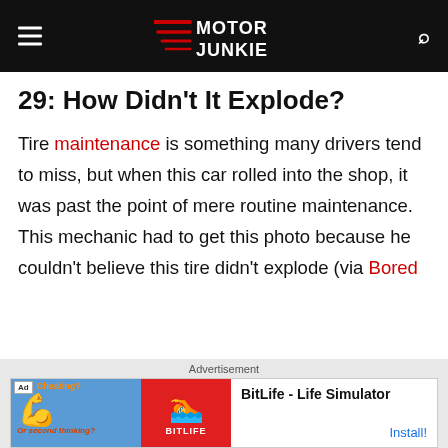Motor Junkie
29: How Didn't It Explode?
Tire maintenance is something many drivers tend to miss, but when this car rolled into the shop, it was past the point of mere routine maintenance. This mechanic had to get this photo because he couldn't believe this tire didn't explode (via Bored
[Figure (screenshot): Advertisement banner for BitLife - Life Simulator app]